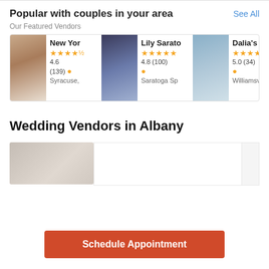Popular with couples in your area
See All
Our Featured Vendors
[Figure (screenshot): Four vendor cards shown in a horizontal scrollable row: New Yor (4.6, 139 reviews, Syracuse), Lily Sarato (4.8, 100 reviews, Saratoga Sp), Dalia's Br (5.0, 34 reviews, Williamsvil), J. Reid M (5.0, 7 reviews, Glens Fall)]
Wedding Vendors in Albany
[Figure (photo): Partial listing image showing a white interior setting]
Schedule Appointment